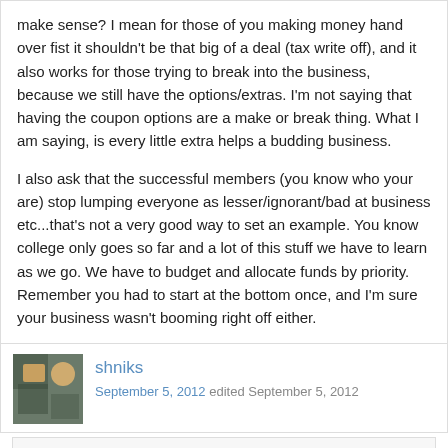make sense? I mean for those of you making money hand over fist it shouldn't be that big of a deal (tax write off), and it also works for those trying to break into the business, because we still have the options/extras. I'm not saying that having the coupon options are a make or break thing. What I am saying, is every little extra helps a budding business.

I also ask that the successful members (you know who your are) stop lumping everyone as lesser/ignorant/bad at business etc...that's not a very good way to set an example. You know college only goes so far and a lot of this stuff we have to learn as we go. We have to budget and allocate funds by priority. Remember you had to start at the bottom once, and I'm sure your business wasn't booming right off either.
shniks
September 5, 2012 edited September 5, 2012
ThreeGuysPhotography wrote: » This post sums up how I feel. I'm pretty sure I would have a hard time finding a host with the same features on the backend and the ability to customize my UI so...